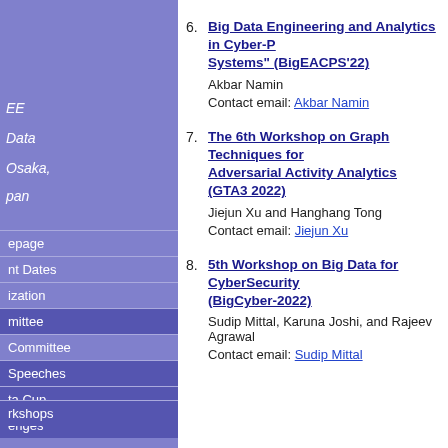6. Big Data Engineering and Analytics in Cyber-Physical Systems" (BigEACPS'22) — Akbar Namin — Contact email: Akbar Namin
7. The 6th Workshop on Graph Techniques for Adversarial Activity Analytics (GTA3 2022) — Jiejun Xu and Hanghang Tong — Contact email: Jiejun Xu
8. 5th Workshop on Big Data for CyberSecurity (BigCyber-2022) — Sudip Mittal, Karuna Joshi, and Rajeev Agrawal — Contact email: Sudip Mittal